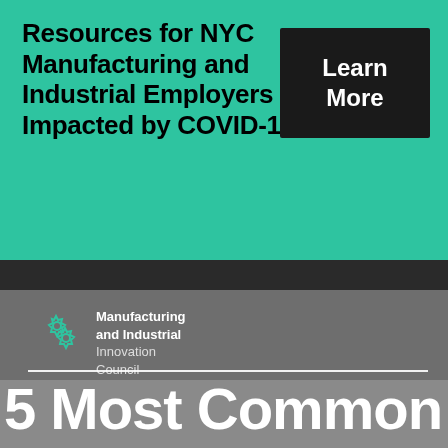Resources for NYC Manufacturing and Industrial Employers Impacted by COVID-19
Learn More
[Figure (logo): Manufacturing and Industrial Innovation Council gear logo with two interlocking gears in teal/green color]
Manufacturing and Industrial Innovation Council
5 Most Common